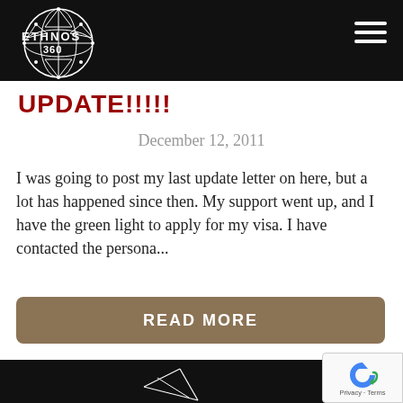[Figure (logo): Ethnos 360 logo — white geometric globe/network sphere with 'ETHNOS 360' text, on black header bar]
UPDATE!!!!!
December 12, 2011
I was going to post my last update letter on here, but a lot has happened since then. My support went up, and I have the green light to apply for my visa. I have contacted the persona...
READ MORE
[Figure (screenshot): Bottom portion showing black image area with reCAPTCHA badge overlay in bottom right corner]